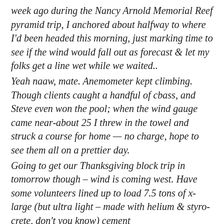week ago during the Nancy Arnold Memorial Reef pyramid trip, I anchored about halfway to where I'd been headed this morning, just marking time to see if the wind would fall out as forecast & let my folks get a line wet while we waited.. Yeah naaw, mate. Anemometer kept climbing. Though clients caught a handful of cbass, and Steve even won the pool; when the wind gauge came near-about 25 I threw in the towel and struck a course for home — no charge, hope to see them all on a prettier day. Going to get our Thanksgiving block trip in tomorrow though – wind is coming west. Have some volunteers lined up to load 7.5 tons of x-large (but ultra light – made with helium & styro-crete, don't you know) cement